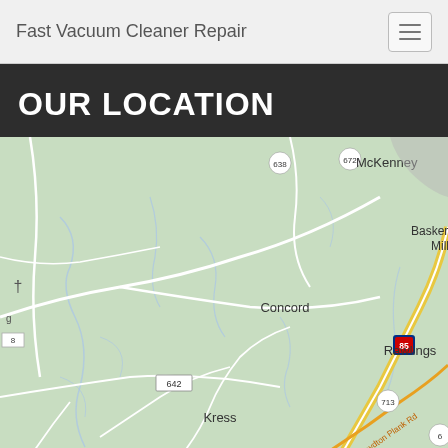Fast Vacuum Cleaner Repair
OUR LOCATION
[Figure (map): Google Maps screenshot showing rural Virginia area with locations: McKenney, Baskerville Mill, Concord, Rawlings, Kress. Roads include route 638, 672, 610, 642, 713, interstate 85, and Boydton Plank Rd.]